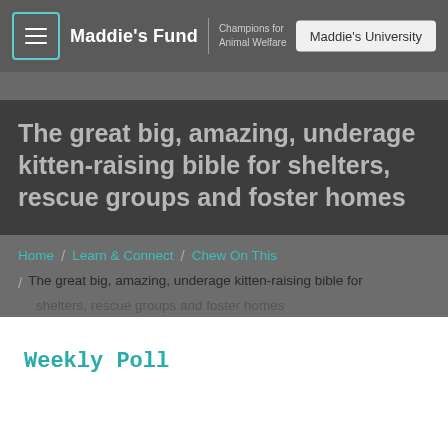Maddie's Fund | Champions for Animal Welfare | Maddie's University
The great big, amazing, underage kitten-raising bible for shelters, rescue groups and foster homes
Home / Learn & Connect / Chew On This / The great big, amazing, underage kitten-raising bible for shelters, rescue groups and foster homes
Weekly Poll